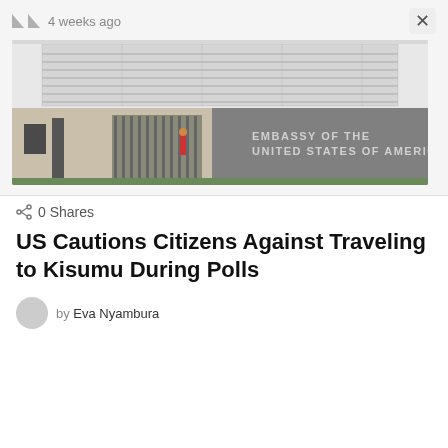4 weeks ago
[Figure (photo): Photograph of the Embassy of the United States of America building, showing a large modern structure with a white louvered upper facade and a gray concrete lower section with 'EMBASSY OF THE UNITED STATES OF AMERICA' lettered on it. A security entrance with vertical steel bars is visible on the left side.]
0 Shares
US Cautions Citizens Against Traveling to Kisumu During Polls
by Eva Nyambura